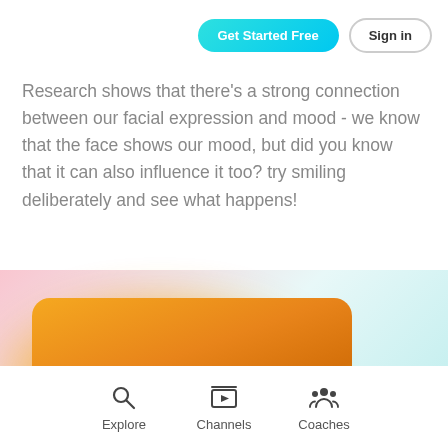Get Started Free
Sign in
Research shows that there's a strong connection between our facial expression and mood - we know that the face shows our mood, but did you know that it can also influence it too? try smiling deliberately and see what happens!
[Figure (photo): Partial view of a smiling face against an orange/yellow warm background, shown as a card with rounded corners. Orange glow effect surrounds the card on a gradient background.]
Explore   Channels   Coaches